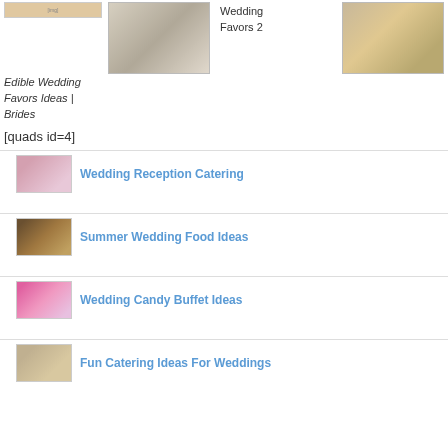[Figure (photo): Small image of food/wedding favor items at top left]
[Figure (photo): Image of wedding favor gift boxes in a bowl, center top]
Edible Wedding Favors Ideas | Brides
Wedding Favors 2
[Figure (photo): Image of pastries and flowers in a wooden box, top right]
[quads id=4]
Wedding Reception Catering
Summer Wedding Food Ideas
Wedding Candy Buffet Ideas
Fun Catering Ideas For Weddings